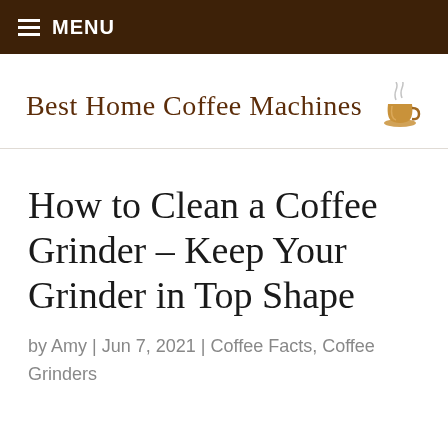MENU
Best Home Coffee Machines
How to Clean a Coffee Grinder – Keep Your Grinder in Top Shape
by Amy | Jun 7, 2021 | Coffee Facts, Coffee Grinders